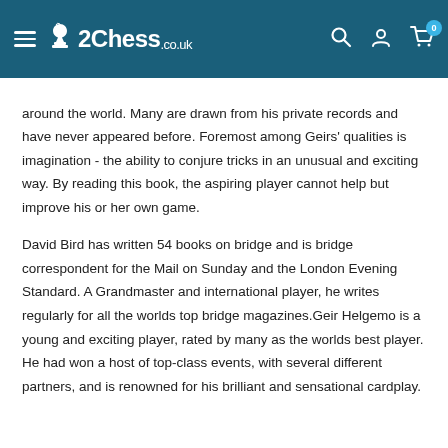Chess.co.uk
around the world. Many are drawn from his private records and have never appeared before. Foremost among Geirs' qualities is imagination - the ability to conjure tricks in an unusual and exciting way. By reading this book, the aspiring player cannot help but improve his or her own game.
David Bird has written 54 books on bridge and is bridge correspondent for the Mail on Sunday and the London Evening Standard. A Grandmaster and international player, he writes regularly for all the worlds top bridge magazines.Geir Helgemo is a young and exciting player, rated by many as the worlds best player. He had won a host of top-class events, with several different partners, and is renowned for his brilliant and sensational cardplay.